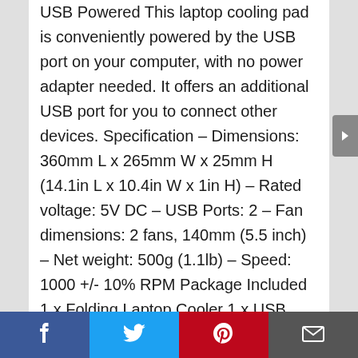USB Powered This laptop cooling pad is conveniently powered by the USB port on your computer, with no power adapter needed. It offers an additional USB port for you to connect other devices. Specification – Dimensions: 360mm L x 265mm W x 25mm H (14.1in L x 10.4in W x 1in H) – Rated voltage: 5V DC – USB Ports: 2 – Fan dimensions: 2 fans, 140mm (5.5 inch) – Net weight: 500g (1.1lb) – Speed: 1000 +/- 10% RPM Package Included 1 x Folding Laptop Cooler 1 x USB cable Scope: 16 inches and 16 inches or less universal notebook (15.6 maybe the perfect match in size).
Facebook | Twitter | Pinterest | Email